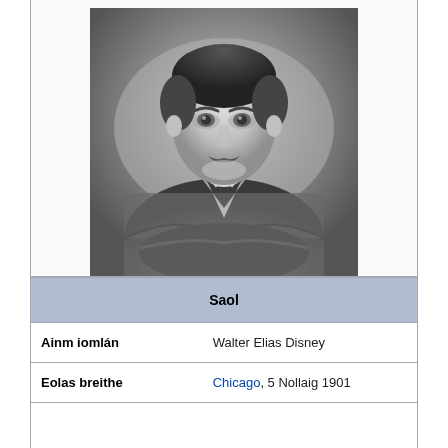[Figure (photo): Black and white portrait photograph of Walt Disney, a middle-aged man with a mustache wearing a tweed jacket, posed with arms crossed and looking at the camera]
|  |  |
| --- | --- |
| Saol |  |
| Ainm iomlán | Walter Elias Disney |
| Eolas breithe | Chicago, 5 Nollaig 1901 |